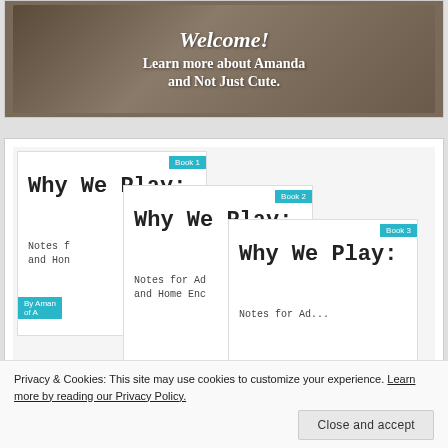[Figure (photo): Welcome banner image showing text 'Welcome! Learn more about Amanda and Not Just Cute.' overlaid on a photo background]
[Figure (illustration): Three overlapping book covers for 'Why We Play: Notes for Adults and Home Enc...' Book 1, Book 2, and Book 3, each tagged with a teal label, arranged in a staggered stack]
Privacy & Cookies: This site may use cookies to customize your experience. Learn more by reading our Privacy Policy.
Close and accept